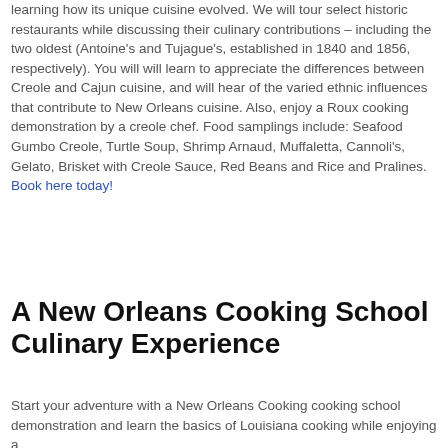learning how its unique cuisine evolved. We will tour select historic restaurants while discussing their culinary contributions – including the two oldest (Antoine's and Tujague's, established in 1840 and 1856, respectively). You will will learn to appreciate the differences between Creole and Cajun cuisine, and will hear of the varied ethnic influences that contribute to New Orleans cuisine. Also, enjoy a Roux cooking demonstration by a creole chef. Food samplings include: Seafood Gumbo Creole, Turtle Soup, Shrimp Arnaud, Muffaletta, Cannoli's, Gelato, Brisket with Creole Sauce, Red Beans and Rice and Pralines. Book here today!
A New Orleans Cooking School Culinary Experience
Start your adventure with a New Orleans Cooking cooking school demonstration and learn the basics of Louisiana cooking while enjoying a